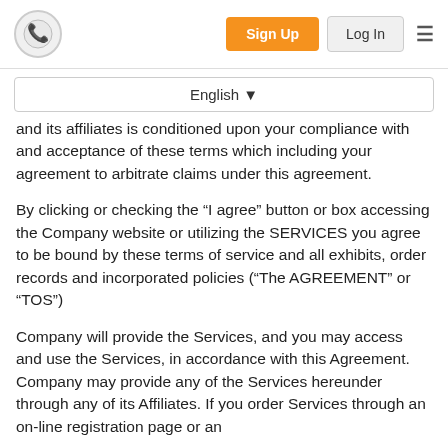Sign Up  Log In
English
and its affiliates is conditioned upon your compliance with and acceptance of these terms which including your agreement to arbitrate claims under this agreement.
By clicking or checking the “I agree” button or box accessing the Company website or utilizing the SERVICES you agree to be bound by these terms of service and all exhibits, order records and incorporated policies (“The AGREEMENT” or “TOS”)
Company will provide the Services, and you may access and use the Services, in accordance with this Agreement. Company may provide any of the Services hereunder through any of its Affiliates. If you order Services through an on-line registration page or an